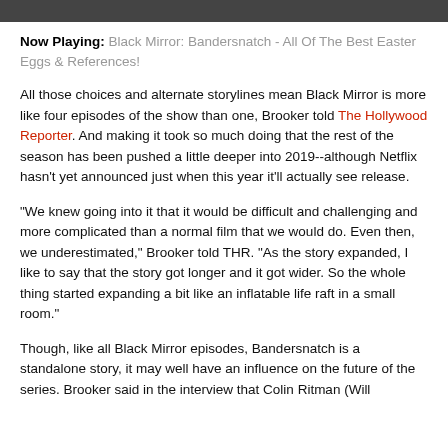Now Playing: Black Mirror: Bandersnatch - All Of The Best Easter Eggs & References!
All those choices and alternate storylines mean Black Mirror is more like four episodes of the show than one, Brooker told The Hollywood Reporter. And making it took so much doing that the rest of the season has been pushed a little deeper into 2019--although Netflix hasn't yet announced just when this year it'll actually see release.
"We knew going into it that it would be difficult and challenging and more complicated than a normal film that we would do. Even then, we underestimated," Brooker told THR. "As the story expanded, I like to say that the story got longer and it got wider. So the whole thing started expanding a bit like an inflatable life raft in a small room."
Though, like all Black Mirror episodes, Bandersnatch is a standalone story, it may well have an influence on the future of the series. Brooker said in the interview that Colin Ritman (Will